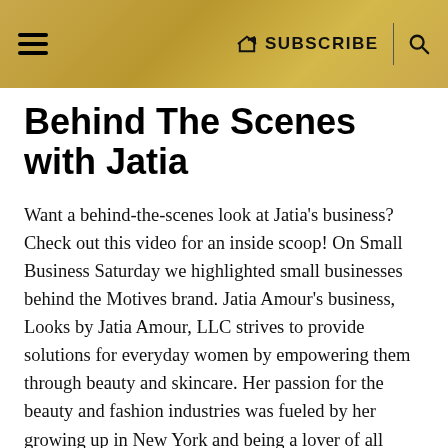≡  SUBSCRIBE  🔍
Behind The Scenes with Jatia
Want a behind-the-scenes look at Jatia's business? Check out this video for an inside scoop! On Small Business Saturday we highlighted small businesses behind the Motives brand. Jatia Amour's business, Looks by Jatia Amour, LLC strives to provide solutions for everyday women by empowering them through beauty and skincare. Her passion for the beauty and fashion industries was fueled by her growing up in New York and being a lover of all things beauty. She began her career as a Professional Makeup Artist in 2010 while living overseas.
As a military spouse, and a traveling freelance makeup artist, she has had the pleasure of servicing a diverse clientele in both age and